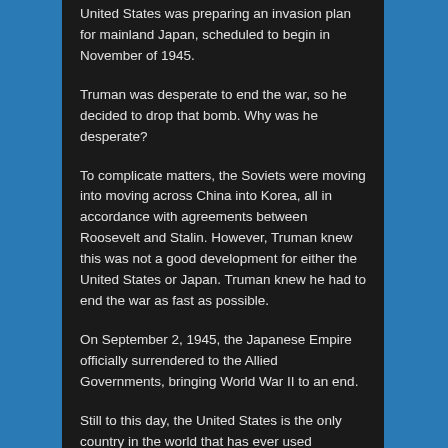United States was preparing an invasion plan for mainland Japan, scheduled to begin in November of 1945.
Truman was desperate to end the war, so he decided to drop that bomb. Why was he desperate?
To complicate matters, the Soviets were moving into moving across China into Korea, all in accordance with agreements between Roosevelt and Stalin. However, Truman knew this was not a good development for either the United States or Japan. Truman knew he had to end the war as fast as possible.
On September 2, 1945, the Japanese Empire officially surrendered to the Allied Governments, bringing World War II to an end.
Still to this day, the United States is the only country in the world that has ever used controversial nuclear weapons. However, the use of the two nuclear bombs likely saved lives in the long run, both American and Japanese